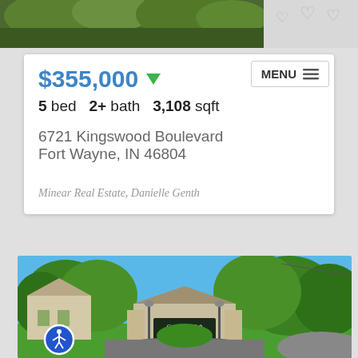[Figure (photo): Top portion of a property or outdoor landscape photo, cropped, showing green trees and foliage]
$355,000 ▼
5 bed  2+ bath  3,108 sqft
6721 Kingswood Boulevard
Fort Wayne, IN 46804
Minear Real Estate, Danielle Genth
[Figure (photo): Exterior photo of Covington Club community entrance with brick sign, lush green trees and blue sky]